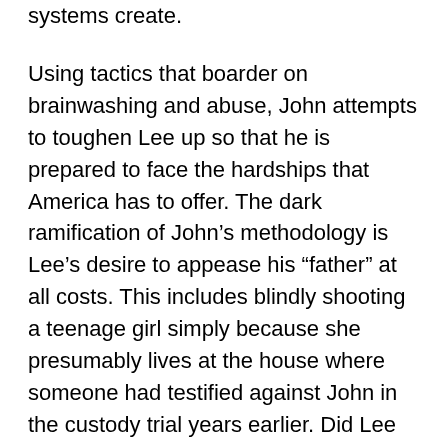systems create.
Using tactics that boarder on brainwashing and abuse, John attempts to toughen Lee up so that he is prepared to face the hardships that America has to offer. The dark ramification of John's methodology is Lee's desire to appease his “father” at all costs. This includes blindly shooting a teenage girl simply because she presumably lives at the house where someone had testified against John in the custody trial years earlier. Did Lee even target the correct house? According to John, it does not really matter as a message was sent. With the seeds